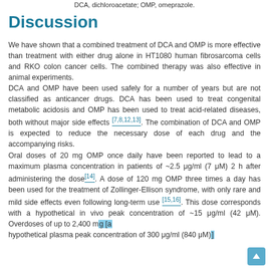DCA, dichloroacetate; OMP, omeprazole.
Discussion
We have shown that a combined treatment of DCA and OMP is more effective than treatment with either drug alone in HT1080 human fibrosarcoma cells and RKO colon cancer cells. The combined therapy was also effective in animal experiments.
DCA and OMP have been used safely for a number of years but are not classified as anticancer drugs. DCA has been used to treat congenital metabolic acidosis and OMP has been used to treat acid-related diseases, both without major side effects [7,8,12,13]. The combination of DCA and OMP is expected to reduce the necessary dose of each drug and the accompanying risks.
Oral doses of 20 mg OMP once daily have been reported to lead to a maximum plasma concentration in patients of ~2.5 μg/ml (7 μM) 2 h after administering the dose[14]. A dose of 120 mg OMP three times a day has been used for the treatment of Zollinger-Ellison syndrome, with only rare and mild side effects even following long-term use [15,16]. This dose corresponds with a hypothetical in vivo peak concentration of ~15 μg/ml (42 μM). Overdoses of up to 2,400 mg [a hypothetical plasma peak concentration of 300 μg/ml (840 μM)